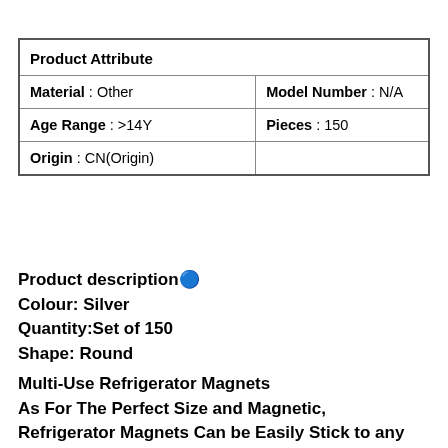| Product Attribute |  |
| --- | --- |
| Material : Other | Model Number : N/A |
| Age Range : >14Y | Pieces : 150 |
| Origin : CN(Origin) |  |
Product description️
Colour: Silver
Quantity:Set of 150
Shape: Round
Multi-Use Refrigerator Magnets
As For The Perfect Size and Magnetic,
Refrigerator Magnets Can be Easily Stick to any